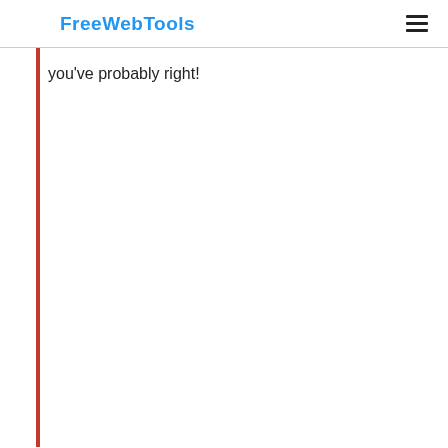FreeWebTools
you've probably right!